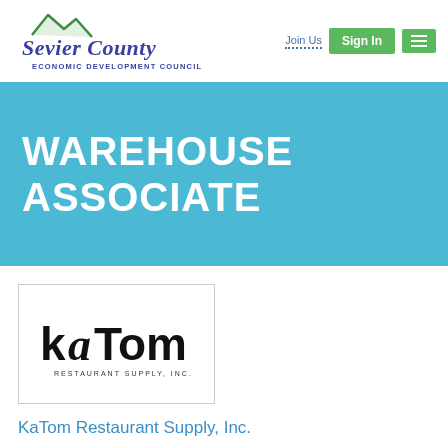[Figure (logo): Sevier County Economic Development Council logo with mountain graphic in green and blue script text]
WAREHOUSE ASSOCIATE
[Figure (logo): KaTom Restaurant Supply, Inc. logo in black text with stylized lettering]
KaTom Restaurant Supply, Inc.
Post Date: March 4, 2020